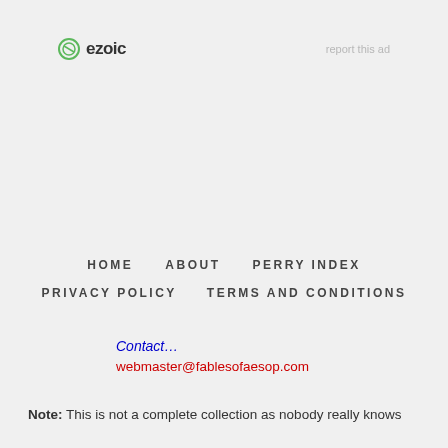[Figure (logo): Ezoic logo with green circular icon and bold 'ezoic' text]
report this ad
HOME   ABOUT   PERRY INDEX   PRIVACY POLICY   TERMS AND CONDITIONS
Contact…
webmaster@fablesofaesop.com
Note: This is not a complete collection as nobody really knows